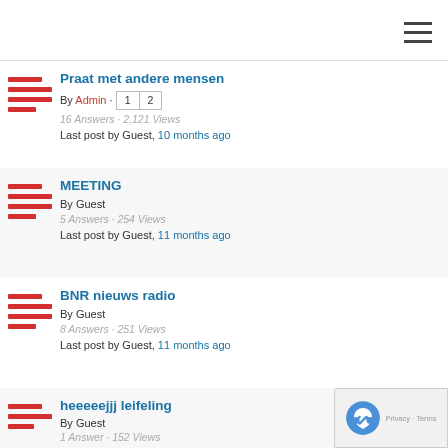[Figure (other): Hamburger menu icon (three horizontal lines) in top right corner]
Praat met andere mensen
By Admin · 1 2
16 Answers · 2,121 Views
Last post by Guest, 10 months ago
MEETING
By Guest
5 Answers · 254 Views
Last post by Guest, 11 months ago
BNR nieuws radio
By Guest
8 Answers · 251 Views
Last post by Guest, 11 months ago
heeeeejjj leifeling
By Guest
1 Answer · 152 Views